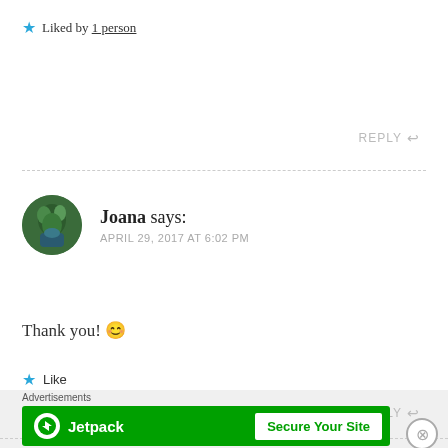★ Liked by 1 person
REPLY ↩
Joana says: APRIL 29, 2017 AT 6:02 PM
Thank you! 😊
★ Like
REPLY ↩
Advertisements
[Figure (other): Jetpack advertisement banner with logo and 'Secure Your Site' button]